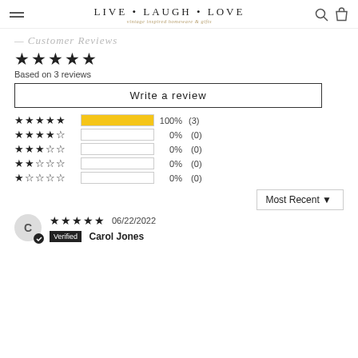LIVE·LAUGH·LOVE vintage inspired homeware & gifts
Customer Reviews
⭐⭐⭐⭐⭐ Based on 3 reviews
Write a review
[Figure (bar-chart): Rating distribution]
Most Recent ▼
★★★★★ 06/22/2022 Verified Carol Jones